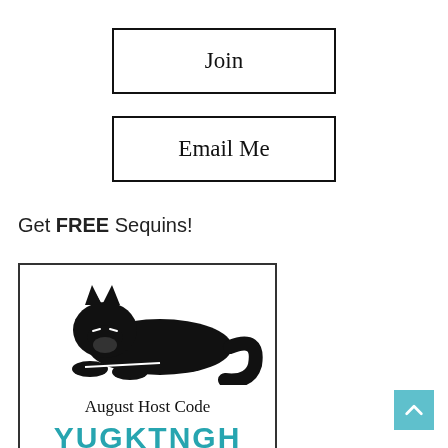Join
Email Me
Get FREE Sequins!
[Figure (illustration): Black cat lying down logo with text 'August Host Code' and partial teal text 'YUGKTNGH' below]
August Host Code
YUGKTNGH